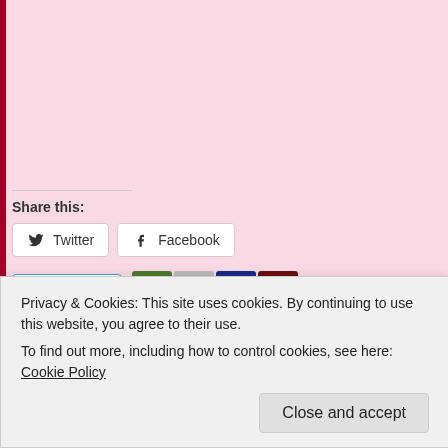Share this:
Twitter  Facebook
Like  4 bloggers like this.
Related
Know    Philippians 4:4-7
Privacy & Cookies: This site uses cookies. By continuing to use this website, you agree to their use. To find out more, including how to control cookies, see here: Cookie Policy
Close and accept